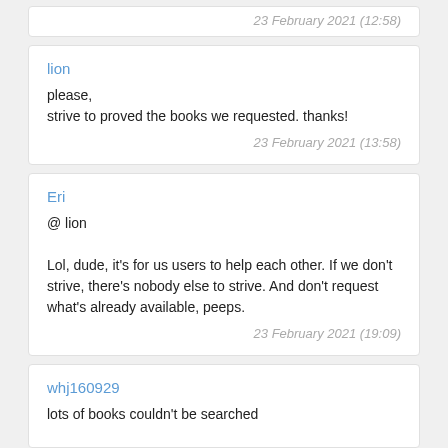23 February 2021 (12:58)
lion
please,
strive to proved the books we requested. thanks!
23 February 2021 (13:58)
Eri
@ lion

Lol, dude, it's for us users to help each other. If we don't strive, there's nobody else to strive. And don't request what's already available, peeps.
23 February 2021 (19:09)
whj160929
lots of books couldn't be searched